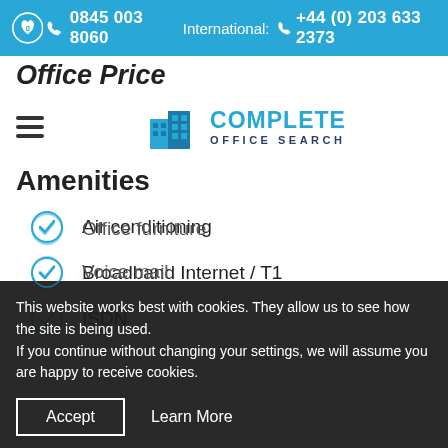0845 003 8060   International: +44 (0) 203 633 2373
Office Price
[Figure (logo): Complete Office Search logo with blue building icon and text COMPLETE OFFICE SEARCH]
Amenities
Air conditioning
Broadband Internet / T1
ISDN
Office furniture
Voice mail
This website works best with cookies. They allow us to see how the site is being used.
If you continue without changing your settings, we will assume you are happy to receive cookies.
Accept   Learn More